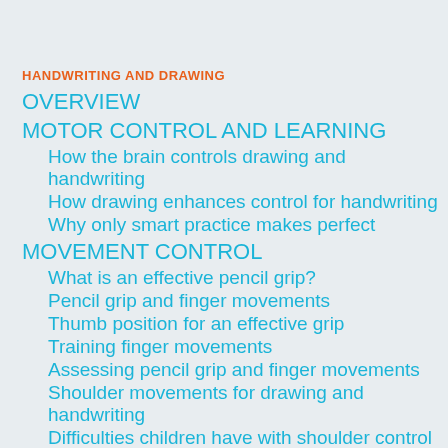HANDWRITING AND DRAWING
OVERVIEW
MOTOR CONTROL AND LEARNING
How the brain controls drawing and handwriting
How drawing enhances control for handwriting
Why only smart practice makes perfect
MOVEMENT CONTROL
What is an effective pencil grip?
Pencil grip and finger movements
Thumb position for an effective grip
Training finger movements
Assessing pencil grip and finger movements
Shoulder movements for drawing and handwriting
Difficulties children have with shoulder control for drawing and handwriting